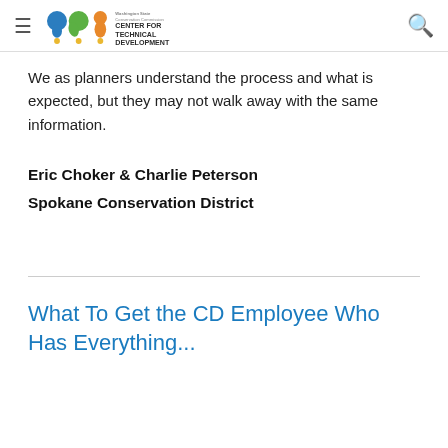Washington State Conservation Commission CENTER FOR TECHNICAL DEVELOPMENT
We as planners understand the process and what is expected, but they may not walk away with the same information.
Eric Choker & Charlie Peterson
Spokane Conservation District
What To Get the CD Employee Who Has Everything...